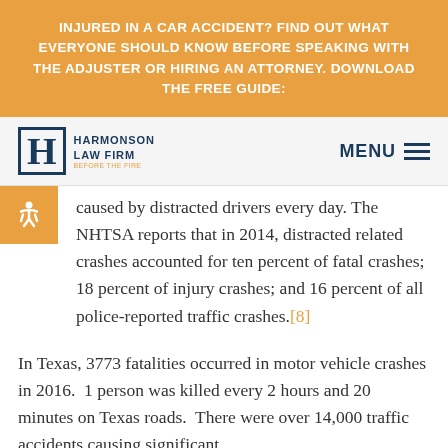INJURED IN A CAR ACCIDENT? FIND OUT WHAT EVERYONE SHOULD KNOW BEFORE SPEAKING WITH THE ADJUSTER OR HIRING AN ATTORNEY. DOWNLOAD THE FREE GUIDE:
[Figure (logo): Harmonson Law Firm logo with stylized H and text 'BEFORE THE FIRE']
caused by distracted drivers every day. The NHTSA reports that in 2014, distracted related crashes accounted for ten percent of fatal crashes; 18 percent of injury crashes; and 16 percent of all police-reported traffic crashes.[8]
In Texas, 3773 fatalities occurred in motor vehicle crashes in 2016.  1 person was killed every 2 hours and 20 minutes on Texas roads.  There were over 14,000 traffic accidents causing significant